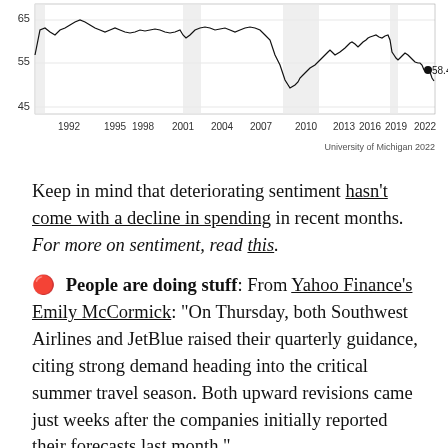[Figure (continuous-plot): University of Michigan Consumer Sentiment line chart showing values from 1992 to 2022. Y-axis shows values from 45 to 65+. A dot marks 58.4 near 2022. Shaded recession bars visible. Source: University of Michigan 2022.]
Keep in mind that deteriorating sentiment hasn't come with a decline in spending in recent months. For more on sentiment, read this.
🔴 People are doing stuff: From Yahoo Finance's Emily McCormick: "On Thursday, both Southwest Airlines and JetBlue raised their quarterly guidance, citing strong demand heading into the critical summer travel season. Both upward revisions came just weeks after the companies initially reported their forecasts last month."
This follows a similar announcement from United